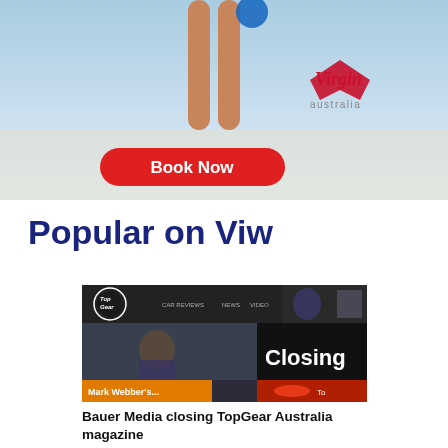[Figure (photo): Virgin Australia advertisement banner with a person standing on a beach, a red 'Book Now' button, and the Virgin Australia logo in the bottom right corner.]
Popular on Viw
[Figure (screenshot): Screenshot of the TopGear Australia website showing the TopGear logo, navigation bar with CAR REVIEWS, NEWS, VIDEO links, a photo of a man in a car interior with 'Mark Webber's...' caption, and a 'Closing' overlay text on the right side with a red sports car thumbnail.]
Bauer Media closing TopGear Australia magazine
Bauer Media today announced the closure of TopGear Australia magazine and its companion website, with the magazine ceasing publication